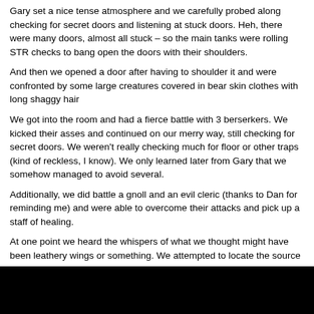Gary set a nice tense atmosphere and we carefully probed along checking for secret doors and listening at stuck doors. Heh, there were many doors, almost all stuck – so the main tanks were rolling STR checks to bang open the doors with their shoulders.
And then we opened a door after having to shoulder it and were confronted by some large creatures covered in bear skin clothes with long shaggy hair
We got into the room and had a fierce battle with 3 berserkers. We kicked their asses and continued on our merry way, still checking for secret doors. We weren't really checking much for floor or other traps (kind of reckless, I know). We only learned later from Gary that we somehow managed to avoid several.
Additionally, we did battle a gnoll and an evil cleric (thanks to Dan for reminding me) and were able to overcome their attacks and pick up a staff of healing.
At one point we heard the whispers of what we thought might have been leathery wings or something. We attempted to locate the source and checking to see if we were being followed, but could find out nothing.
More dungeon exploring – with a few discussions about directions and questions of whether or not we had come down a particular corridor. We did then seem to get our bearings and continued.